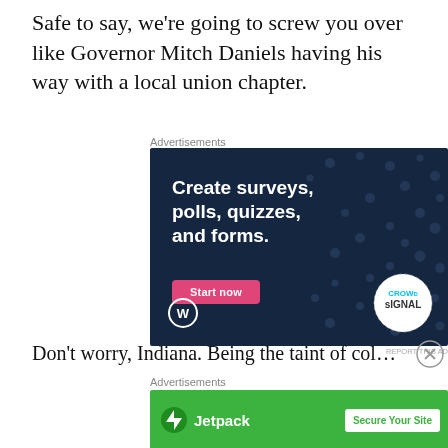Safe to say, we’re going to screw you over like Governor Mitch Daniels having his way with a local union chapter.
Advertisements
[Figure (other): Advertisement banner for Crowdsignal: dark navy background with white bold text 'Create surveys, polls, quizzes, and forms.' with a pink 'Start now' button, WordPress logo bottom-left, Crowdsignal logo bottom-right]
REPORT THIS AD
Don't worry, Indiana. Being the taint of college football will
Advertisements
[Figure (other): Jetpack advertisement banner: green background with Jetpack logo and 'Secure Your Site' white button]